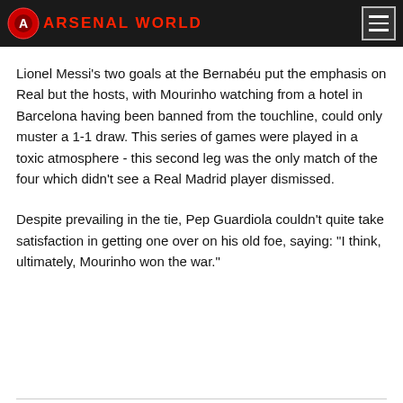ARSENAL WORLD
Lionel Messi's two goals at the Bernabéu put the emphasis on Real but the hosts, with Mourinho watching from a hotel in Barcelona having been banned from the touchline, could only muster a 1-1 draw. This series of games were played in a toxic atmosphere - this second leg was the only match of the four which didn't see a Real Madrid player dismissed.
Despite prevailing in the tie, Pep Guardiola couldn't quite take satisfaction in getting one over on his old foe, saying: "I think, ultimately, Mourinho won the war."